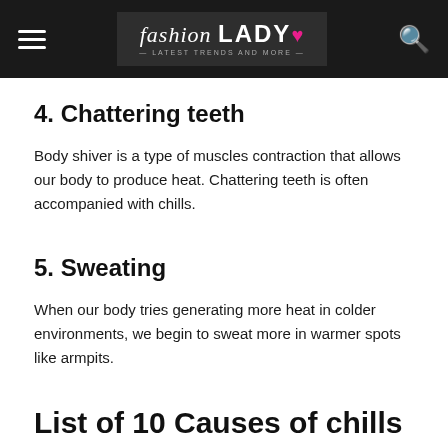fashion LADY — Latest Trends and More —
4. Chattering teeth
Body shiver is a type of muscles contraction that allows our body to produce heat. Chattering teeth is often accompanied with chills.
5. Sweating
When our body tries generating more heat in colder environments, we begin to sweat more in warmer spots like armpits.
List of 10 Causes of chills